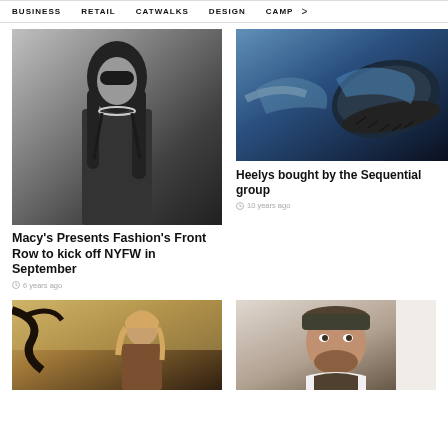BUSINESS   RETAIL   CATWALKS   DESIGN   CAMP >
[Figure (photo): Black and white photo of a woman wearing a black dress and choker necklace]
Macy's Presents Fashion's Front Row to kick off NYFW in September
6 years ago
[Figure (photo): Photo of sneakers/heelys being worn, dark blue tones]
Heelys bought by the Sequential group
10 years ago
[Figure (photo): Photo of a woman outdoors in warm tones]
[Figure (photo): Photo of a man with a beard wearing a cap]